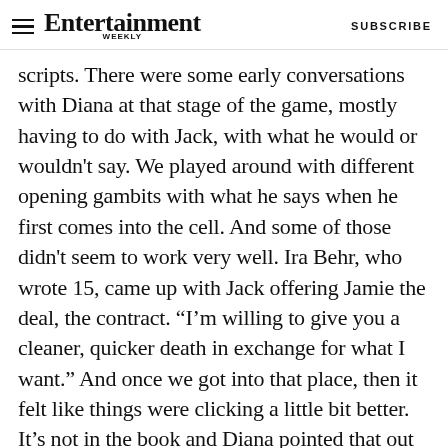Entertainment Weekly  SUBSCRIBE
scripts. There were some early conversations with Diana at that stage of the game, mostly having to do with Jack, with what he would or wouldn't say. We played around with different opening gambits with what he says when he first comes into the cell. And some of those didn't seem to work very well. Ira Behr, who wrote 15, came up with Jack offering Jamie the deal, the contract. “I’m willing to give you a cleaner, quicker death in exchange for what I want.” And once we got into that place, then it felt like things were clicking a little bit better. It’s not in the book and Diana pointed that out and we talked about it, and I think eventually she got what we were going